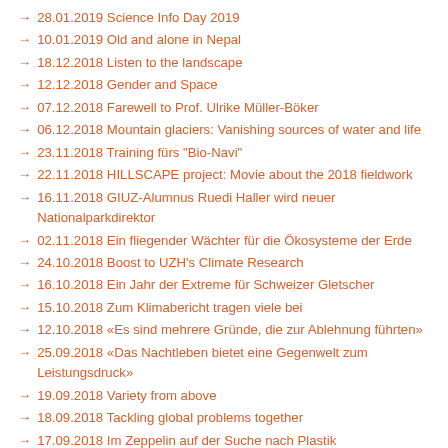28.01.2019 Science Info Day 2019
10.01.2019 Old and alone in Nepal
18.12.2018 Listen to the landscape
12.12.2018 Gender and Space
07.12.2018 Farewell to Prof. Ulrike Müller-Böker
06.12.2018 Mountain glaciers: Vanishing sources of water and life
23.11.2018 Training fürs "Bio-Navi"
22.11.2018 HILLSCAPE project: Movie about the 2018 fieldwork
16.11.2018 GIUZ-Alumnus Ruedi Haller wird neuer Nationalparkdirektor
02.11.2018 Ein fliegender Wächter für die Ökosysteme der Erde
24.10.2018 Boost to UZH's Climate Research
16.10.2018 Ein Jahr der Extreme für Schweizer Gletscher
15.10.2018 Zum Klimabericht tragen viele bei
12.10.2018 «Es sind mehrere Gründe, die zur Ablehnung führten»
25.09.2018 «Das Nachtleben bietet eine Gegenwelt zum Leistungsdruck»
19.09.2018 Variety from above
18.09.2018 Tackling global problems together
17.09.2018 Im Zeppelin auf der Suche nach Plastik
04.09.2018 Tango into the abyss